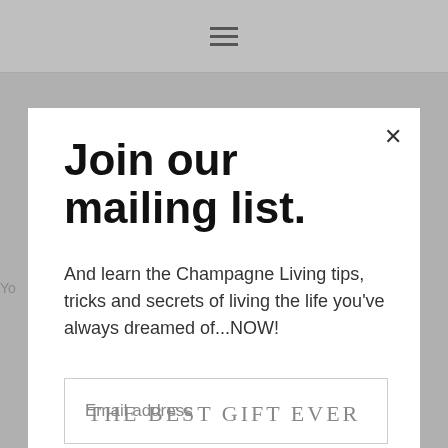[Figure (screenshot): Hamburger menu icon (three horizontal lines) in a gray top navigation bar]
Join our mailing list.
And learn the Champagne Living tips, tricks and secrets of living the life you've always dreamed of...NOW!
Email address
Subscribe
THE BEST GIFT EVER